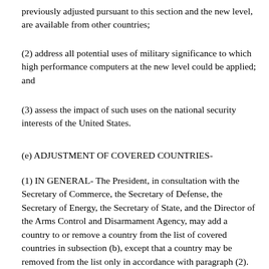previously adjusted pursuant to this section and the new level, are available from other countries;
(2) address all potential uses of military significance to which high performance computers at the new level could be applied; and
(3) assess the impact of such uses on the national security interests of the United States.
(e) ADJUSTMENT OF COVERED COUNTRIES-
(1) IN GENERAL- The President, in consultation with the Secretary of Commerce, the Secretary of Defense, the Secretary of Energy, the Secretary of State, and the Director of the Arms Control and Disarmament Agency, may add a country to or remove a country from the list of covered countries in subsection (b), except that a country may be removed from the list only in accordance with paragraph (2).